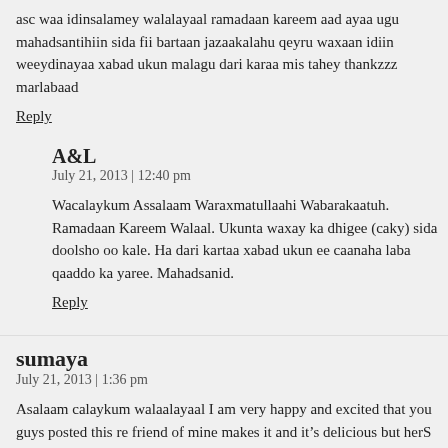asc waa idinsalamey walalayaal ramadaan kareem aad ayaa ugu mahadsantihiin sida fii bartaan jazaakalahu qeyru waxaan idiin weeydinayaa xabad ukun malagu dari karaa mis tahey thankzzz marlabaad
Reply
A&L
July 21, 2013 | 12:40 pm
Wacalaykum Assalaam Waraxmatullaahi Wabarakaatuh.
Ramadaan Kareem Walaal. Ukunta waxay ka dhigee (caky) sida doolsho oo kale. H dari kartaa xabad ukun ee caanaha laba qaaddo ka yaree. Mahadsanid.
Reply
sumaya
July 21, 2013 | 1:36 pm
Asalaam calaykum walaalayaal I am very happy and excited that you guys posted this re friend of mine makes it and it’s delicious but herS is little different she ads lots of butter how but I was not successful in it but I am glad that yours is easy can’t wait to try it I wa sheet or a different kind cake pan and placing the cake pan in the oven is it in the middle thanks a million JAZAAKA ALLAH QAYR
Reply